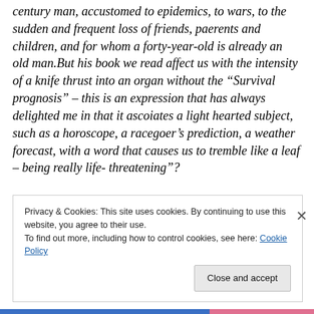century man, accustomed to epidemics, to wars, to the sudden and frequent loss of friends, paerents and children, and for whom a forty-year-old is already an old man.But his book we read affect us with the intensity of a knife thrust into an organ without the “Survival prognosis” – this is an expression that has always delighted me in that it ascoiates a light hearted subject, such as a horoscope, a racegoer’s prediction, a weather forecast, with a word that causes us to tremble like a leaf – being really life- threatening”?
Privacy & Cookies: This site uses cookies. By continuing to use this website, you agree to their use.
To find out more, including how to control cookies, see here: Cookie Policy